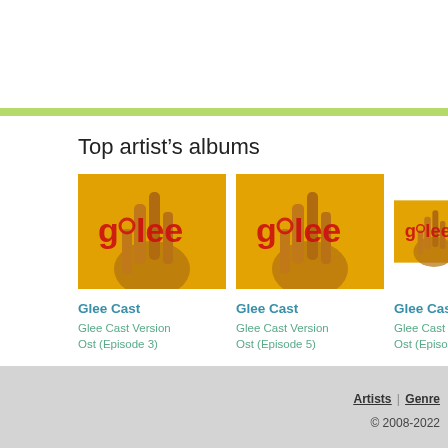Top artist’s albums
[Figure (photo): Glee Cast album cover - Glee Cast Version Ost (Episode 3), yellow background with hand and Glee logo in red]
Glee Cast
Glee Cast Version Ost (Episode 3)
[Figure (photo): Glee Cast album cover - Glee Cast Version Ost (Episode 5), yellow background with hand and Glee logo in red]
Glee Cast
Glee Cast Version Ost (Episode 5)
[Figure (photo): Glee Cast album cover - partially visible, Glee Cast Version Ost (Episode ...), yellow background]
Glee Cast
Glee Cast V... Ost (Episod...
Artists | Genre
© 2008-2022